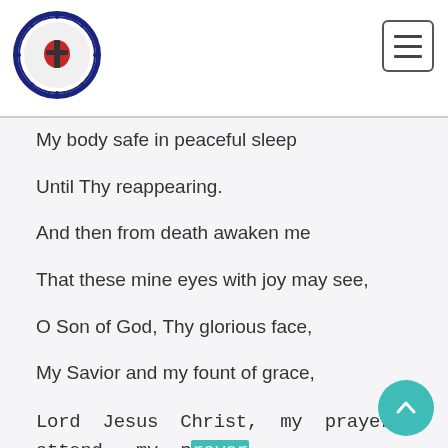[Figure (logo): Lutheran church circular logo with red cross and decorative wreath border in blue and white]
[Figure (other): Hamburger menu button icon with three horizontal lines in a rounded rectangle border]
My body safe in peaceful sleep
Until Thy reappearing.
And then from death awaken me
That these mine eyes with joy may see,
O Son of God, Thy glorious face,
My Savior and my fount of grace,
Lord  Jesus  Christ,  my  prayer  attend,  my  prayer attend,